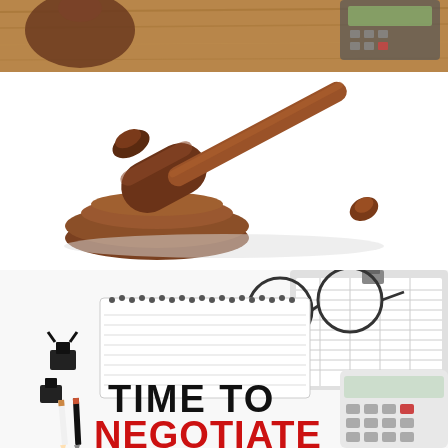[Figure (photo): Cropped top of a desk scene showing a gavel, calculator, and papers on a wooden desk surface]
[Figure (photo): A wooden judge's gavel with its round sound block on a white background]
[Figure (photo): Office negotiation flatlay with glasses, clipboard with spreadsheet, binder clips, pencils, calculator, and a notepad showing the text TIME TO NEGOTIATE in black and red bold letters]